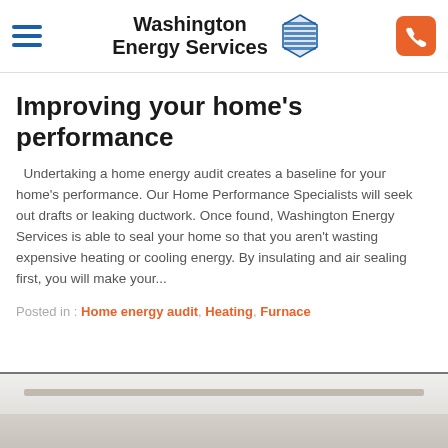Washington Energy Services
Improving your home's performance
Undertaking a home energy audit creates a baseline for your home's performance. Our Home Performance Specialists will seek out drafts or leaking ductwork. Once found, Washington Energy Services is able to seal your home so that you aren't wasting expensive heating or cooling energy. By insulating and air sealing first, you will make your...
Posted in : Home energy audit, Heating, Furnace
[Figure (photo): Bottom portion of a white appliance or device, partially visible at the bottom of the page]